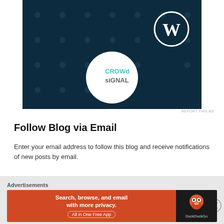[Figure (illustration): Dark teal advertisement banner for Crowdsignal with WordPress logo (W in circle) at top right and Crowdsignal logo in white circle at center-bottom. Dark background with subtle dot pattern.]
REPORT THIS AD
Follow Blog via Email
Enter your email address to follow this blog and receive notifications of new posts by email.
Enter your email address
Advertisements
[Figure (illustration): DuckDuckGo advertisement: orange-red left panel with text 'Search, browse, and email with more privacy. All in One Free App' and dark right panel with DuckDuckGo duck logo and DuckDuckGo text.]